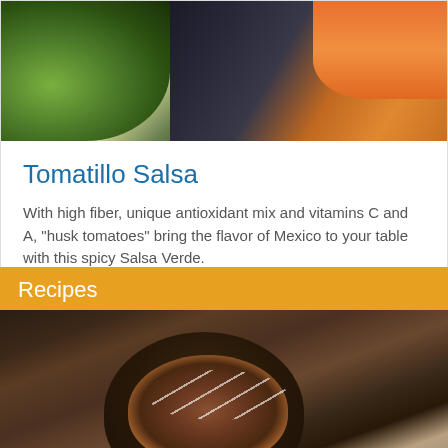[Figure (photo): Photo of tomatillo salsa in a green bowl with blue corn chips, tortilla chips, and carrot sticks in a blue dish]
Tomatillo Salsa
With high fiber, unique antioxidant mix and vitamins C and A, "husk tomatoes" bring the flavor of Mexico to your table with this spicy Salsa Verde.
Learn More ›
Recipes
[Figure (photo): Photo of a dark bowl filled with soup or stew containing vegetables, beans, and a white cream drizzle, on a wooden surface]